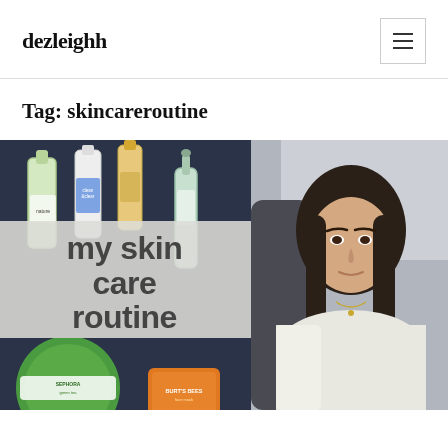dezleighh
Tag: skincareroutine
[Figure (photo): Left: skincare product flatlay with text overlay reading 'my skin care routine' and products including Sephora green tea mask and Burt's Bees packet. Right: young woman selfie in car.]